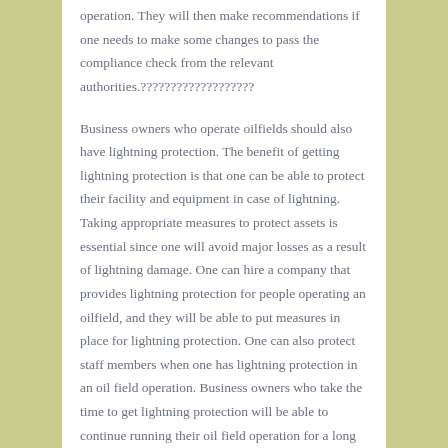operation. They will then make recommendations if one needs to make some changes to pass the compliance check from the relevant authorities.???????????????????
Business owners who operate oilfields should also have lightning protection. The benefit of getting lightning protection is that one can be able to protect their facility and equipment in case of lightning. Taking appropriate measures to protect assets is essential since one will avoid major losses as a result of lightning damage. One can hire a company that provides lightning protection for people operating an oilfield, and they will be able to put measures in place for lightning protection. One can also protect staff members when one has lightning protection in an oil field operation. Business owners who take the time to get lightning protection will be able to continue running their oil field operation for a long time since the operation cannot